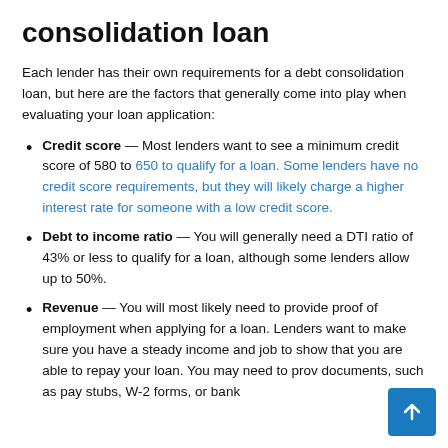consolidation loan
Each lender has their own requirements for a debt consolidation loan, but here are the factors that generally come into play when evaluating your loan application:
Credit score — Most lenders want to see a minimum credit score of 580 to 650 to qualify for a loan. Some lenders have no credit score requirements, but they will likely charge a higher interest rate for someone with a low credit score.
Debt to income ratio — You will generally need a DTI ratio of 43% or less to qualify for a loan, although some lenders allow up to 50%.
Revenue — You will most likely need to provide proof of employment when applying for a loan. Lenders want to make sure you have a steady income and job to show that you are able to repay your loan. You may need to provide documents, such as pay stubs, W-2 forms, or bank